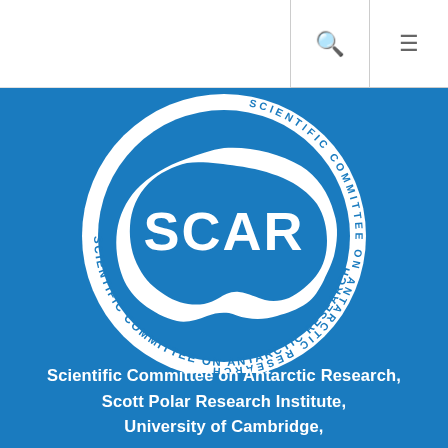[Figure (logo): SCAR logo — circular white badge on blue background showing Antarctica map with text 'SCAR' in large letters and 'SCIENTIFIC COMMITTEE ON ANTARCTIC RESEARCH' around the border]
Scientific Committee on Antarctic Research, Scott Polar Research Institute, University of Cambridge,